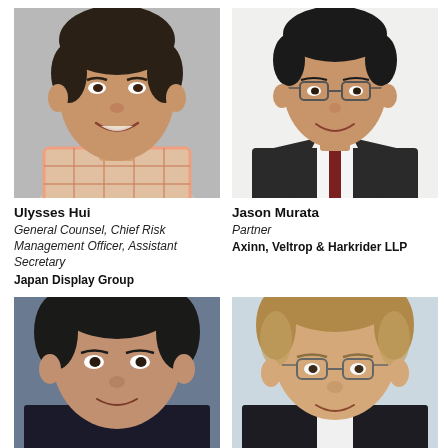[Figure (photo): Headshot of Ulysses Hui, smiling man in plaid shirt against grey background]
[Figure (photo): Headshot of Jason Murata, man in dark suit with glasses against white background]
Ulysses Hui
General Counsel, Chief Risk Management Officer, Assistant Secretary
Japan Display Group
Jason Murata
Partner
Axinn, Veltrop & Harkrider LLP
[Figure (photo): Partial headshot of man with dark hair in dark clothing against blue background]
[Figure (photo): Partial headshot of man with light brown hair and glasses in dark suit]